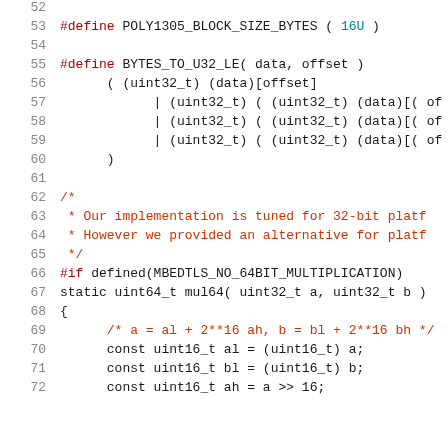[Figure (screenshot): Source code listing lines 52-72 showing C preprocessor macros and function definition for Poly1305 block cipher implementation, with syntax highlighting in red/teal/dark on white background.]